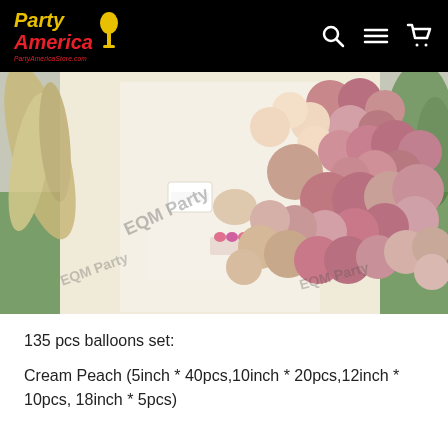Party America — PartyAmericaStore.com — navigation header with search, menu, and cart icons
[Figure (photo): Outdoor boho balloon garland display with cream, peach, dusty rose, and mauve balloons arranged in an arch near a white backdrop and cake table, decorated with pampas grass and flowers. Watermark: EQMParty]
135 pcs balloons set:
Cream Peach (5inch * 40pcs,10inch * 20pcs,12inch * 10pcs, 18inch * 5pcs)